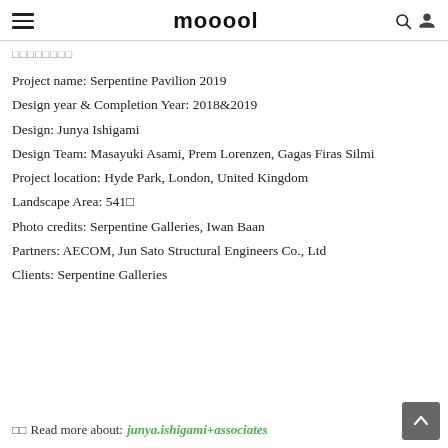mooool
□□□□□□□□
Project name: Serpentine Pavilion 2019
Design year & Completion Year: 2018&2019
Design: Junya Ishigami
Design Team: Masayuki Asami, Prem Lorenzen, Gagas Firas Silmi
Project location: Hyde Park, London, United Kingdom
Landscape Area: 541□
Photo credits: Serpentine Galleries, Iwan Baan
Partners: AECOM, Jun Sato Structural Engineers Co., Ltd
Clients: Serpentine Galleries
□□ Read more about: junya.ishigami+associates